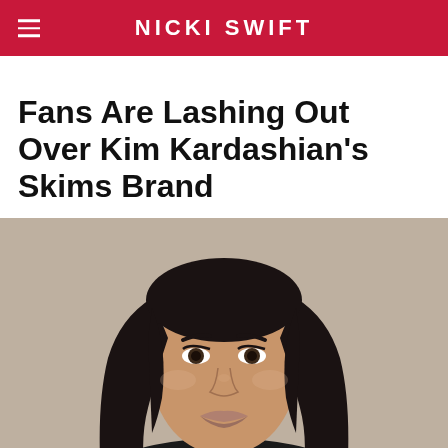NICKI SWIFT
Fans Are Lashing Out Over Kim Kardashian's Skims Brand
[Figure (photo): Close-up photo of Kim Kardashian with long dark hair, wearing dark clothing, against a light gray background.]